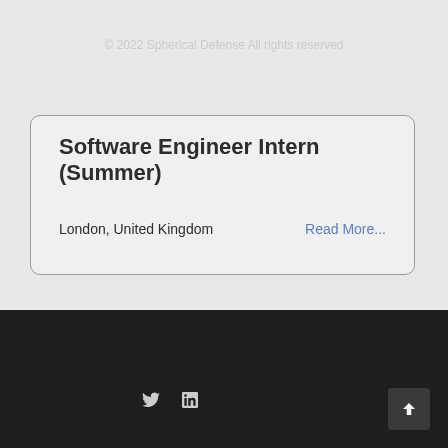Software Engineer Intern (Summer)
London, United Kingdom
Read More...
© 2022 Spherical Defense All rights reserved